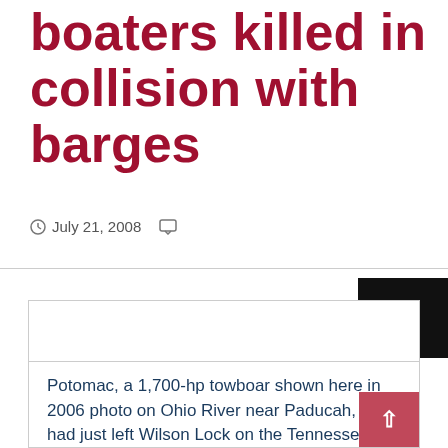boaters killed in collision with barges
July 21, 2008
Potomac, a 1,700-hp towboar shown here in 2006 photo on Ohio River near Paducah, Ky., had just left Wilson Lock on the Tennessee River when the towboat and its two barges collided with a 32-foot recreational vessel.